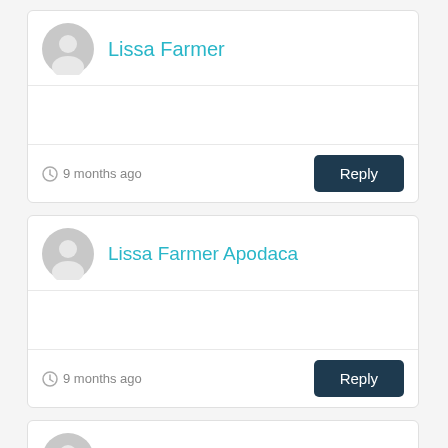Lissa Farmer
9 months ago
Reply
Lissa Farmer Apodaca
9 months ago
Reply
Sharon Berget ★★★★★